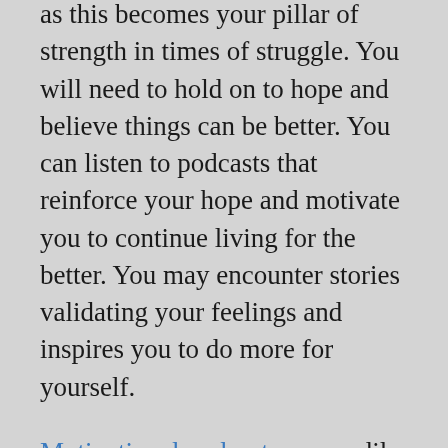as this becomes your pillar of strength in times of struggle. You will need to hold on to hope and believe things can be better. You can listen to podcasts that reinforce your hope and motivate you to continue living for the better. You may encounter stories validating your feelings and inspires you to do more for yourself.
Motivational podcasts are readily available to give inspirations and motivations to do your tasks and more. With podcasts, you have convenient content most of the time.
Staying mentally healthy does not necessarily mean being happy always. You should still understand your emotions and be kind to